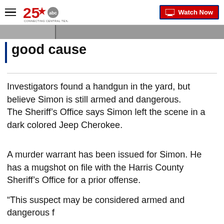≡  KXXV 25 abc — Connecting Central Texas  |  Watch Now
good cause
Investigators found a handgun in the yard, but believe Simon is still armed and dangerous.
The Sheriff's Office says Simon left the scene in a dark colored Jeep Cherokee.
A murder warrant has been issued for Simon. He has a mugshot on file with the Harris County Sheriff's Office for a prior offense.
"This suspect may be considered armed and dangerous f